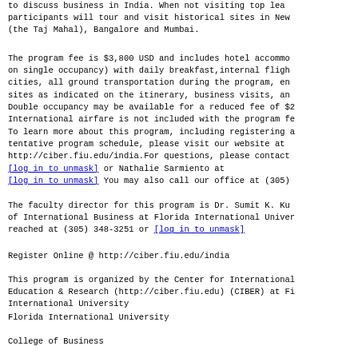to discuss business in India. When not visiting top lea participants will tour and visit historical sites in New (the Taj Mahal), Bangalore and Mumbai.
The program fee is $3,800 USD and includes hotel accommo on single occupancy) with daily breakfast,internal fligh cities, all ground transportation during the program, en sites as indicated on the itinerary, business visits, an Double occupancy may be available for a reduced fee of $2 International airfare is not included with the program fe
To learn more about this program, including registering a tentative program schedule, please visit our website at http://ciber.fiu.edu/india.For questions, please contact [log in to unmask] or Nathalie Sarmiento at [log in to unmask] You may also call our office at (305)
The faculty director for this program is Dr. Sumit K. Ku of International Business at Florida International Univer reached at (305) 348-3251 or [log in to unmask]
Register Online @ http://ciber.fiu.edu/india
This program is organized by the Center for International Education & Research (http://ciber.fiu.edu) (CIBER) at Fi International University
Florida International University
College of Business